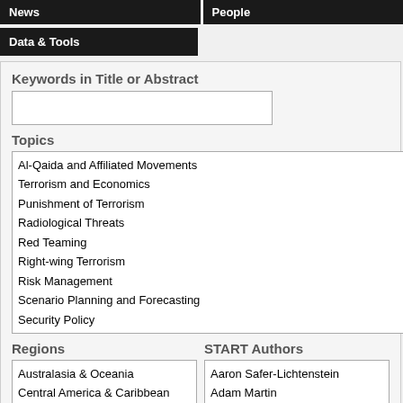News
People
Data & Tools
Keywords in Title or Abstract
Topics
Al-Qaida and Affiliated Movements
Terrorism and Economics
Punishment of Terrorism
Radiological Threats
Red Teaming
Right-wing Terrorism
Risk Management
Scenario Planning and Forecasting
Security Policy
Regions
Australasia & Oceania
Central America & Caribbean
Central Asia
East Asia
Eastern Europe
Global
Middle East and North Africa
North America
START Authors
Aaron Safer-Lichtenstein
Adam Martin
Alan Neustadtl
Alejandro Beutel
Alexander Jonas
Alexandra Williams
Amanda Quinn
Amanda Statland